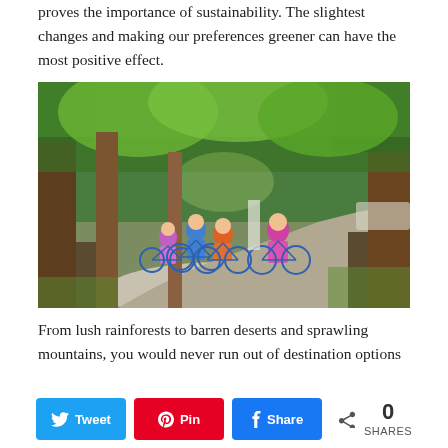proves the importance of sustainability. The slightest changes and making our preferences greener can have the most positive effect.
[Figure (photo): A family of four riding bicycles along a winding path through a lush green park with large trees on either side. A man in a blue shirt, a child in orange, a small child in purple, and a woman in a pink top are cycling together.]
From lush rainforests to barren deserts and sprawling mountains, you would never run out of destination options
N Tweet  A Pin  Share  < 0 SHARES